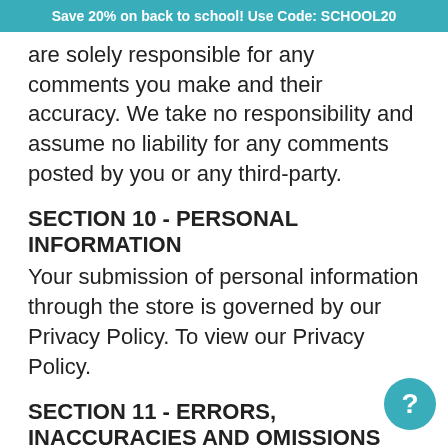Save 20% on back to school! Use Code: SCHOOL20
are solely responsible for any comments you make and their accuracy. We take no responsibility and assume no liability for any comments posted by you or any third-party.
SECTION 10 - PERSONAL INFORMATION
Your submission of personal information through the store is governed by our Privacy Policy. To view our Privacy Policy.
SECTION 11 - ERRORS, INACCURACIES AND OMISSIONS
Occasionally there may be information on our site or in the Service that contains typographical errors, inaccuracies or